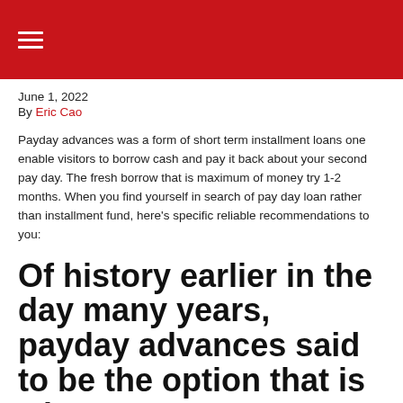[hamburger menu icon on red background]
June 1, 2022
By Eric Cao
Payday advances was a form of short term installment loans one enable visitors to borrow cash and pay it back about your second pay day. The fresh borrow that is maximum of money try 1-2 months. When you find yourself in search of pay day loan rather than installment fund, here’s specific reliable recommendations to you:
Of history earlier in the day many years, payday advances said to be the option that is wisest so you can manage unexpected